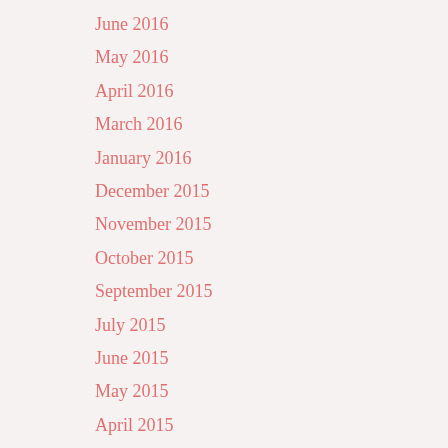June 2016
May 2016
April 2016
March 2016
January 2016
December 2015
November 2015
October 2015
September 2015
July 2015
June 2015
May 2015
April 2015
March 2015
February 2015
January 2015